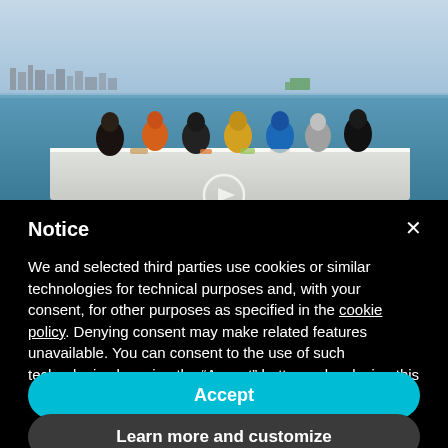[Figure (photo): A group of people sitting at a white-tablecloth table outdoors by the sea, with a city skyline visible in the background across the water under a cloudy sky.]
Notice
We and selected third parties use cookies or similar technologies for technical purposes and, with your consent, for other purposes as specified in the cookie policy. Denying consent may make related features unavailable. You can consent to the use of such technologies by using the “Accept” button or by closing this notice.
Accept
Learn more and customize